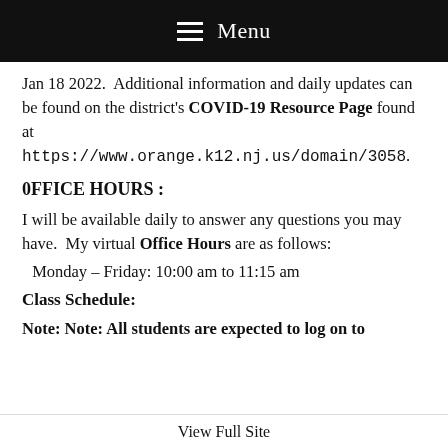Menu
Jan 18 2022.  Additional information and daily updates can be found on the district's COVID-19 Resource Page found at https://www.orange.k12.nj.us/domain/3058.
0FFICE HOURS :
I will be available daily to answer any questions you may have.  My virtual Office Hours are as follows:
Monday – Friday: 10:00 am to 11:15 am
Class Schedule:
Note: Note: All students are expected to log on to
View Full Site